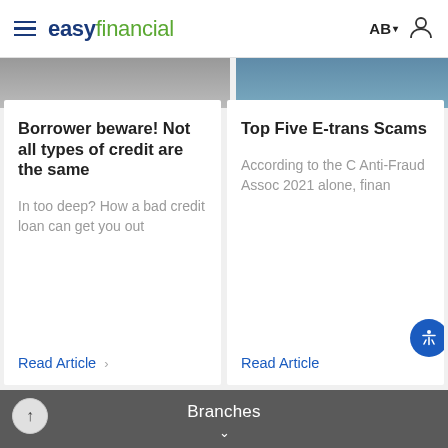easy financial  AB
Borrower beware! Not all types of credit are the same

In too deep? How a bad credit loan can get you out

Read Article
Top Five E-trans Scams

According to the C Anti-Fraud Assoc 2021 alone, finan

Read Article
Return to Home
Branches